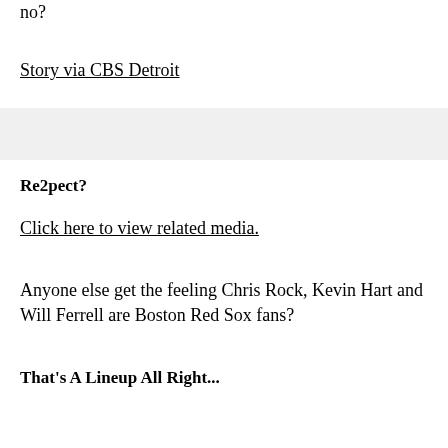no?
Story via CBS Detroit
Re2pect?
Click here to view related media.
Anyone else get the feeling Chris Rock, Kevin Hart and Will Ferrell are Boston Red Sox fans?
That's A Lineup All Right...